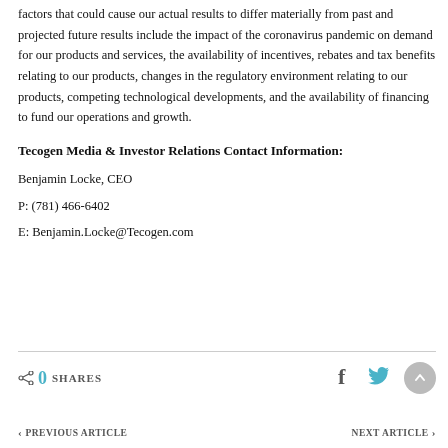factors that could cause our actual results to differ materially from past and projected future results include the impact of the coronavirus pandemic on demand for our products and services, the availability of incentives, rebates and tax benefits relating to our products, changes in the regulatory environment relating to our products, competing technological developments, and the availability of financing to fund our operations and growth.
Tecogen Media & Investor Relations Contact Information:
Benjamin Locke, CEO
P: (781) 466-6402
E: Benjamin.Locke@Tecogen.com
0 SHARES   PREVIOUS ARTICLE   NEXT ARTICLE